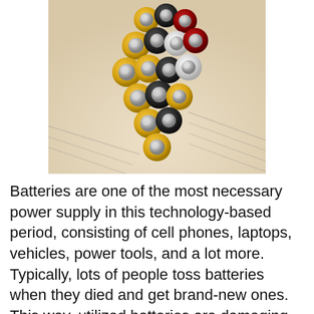[Figure (photo): Close-up photo of multiple AA batteries arranged in a group, showing yellow, black, red, and white batteries with metallic tops, placed on a surface with printed text/paper]
Batteries are one of the most necessary power supply in this technology-based period, consisting of cell phones, laptops, vehicles, power tools, and a lot more. Typically, lots of people toss batteries when they died and get brand-new ones. This way, utilized batteries are damaging the atmosphere and also burn your money. So, it would have been fantastic to recognize a